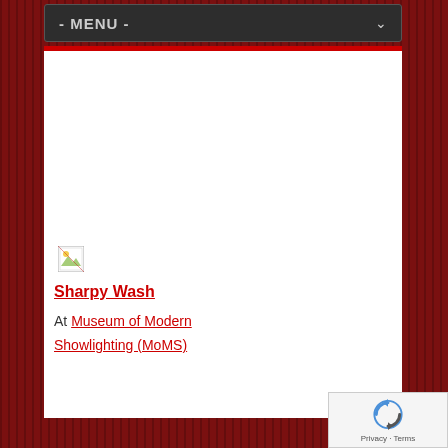- MENU -
[Figure (illustration): Broken/missing image placeholder icon]
Sharpy Wash
At Museum of Modern Showlighting (MoMS)
[Figure (illustration): Google reCAPTCHA badge with Privacy and Terms links]